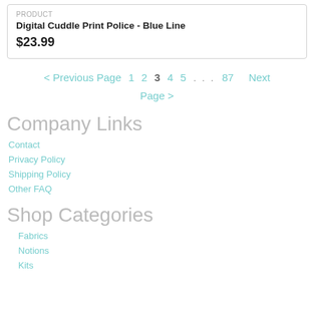PRODUCT
Digital Cuddle Print Police - Blue Line
$23.99
< Previous Page  1  2  3  4  5 . . . 87  Next Page >
Company Links
Contact
Privacy Policy
Shipping Policy
Other FAQ
Shop Categories
Fabrics
Notions
Kits